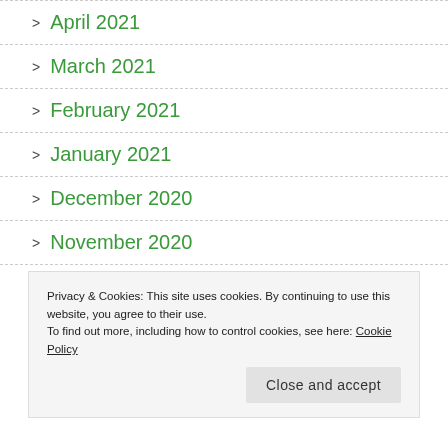> April 2021
> March 2021
> February 2021
> January 2021
> December 2020
> November 2020
> October 2020
Privacy & Cookies: This site uses cookies. By continuing to use this website, you agree to their use.
To find out more, including how to control cookies, see here: Cookie Policy
Close and accept